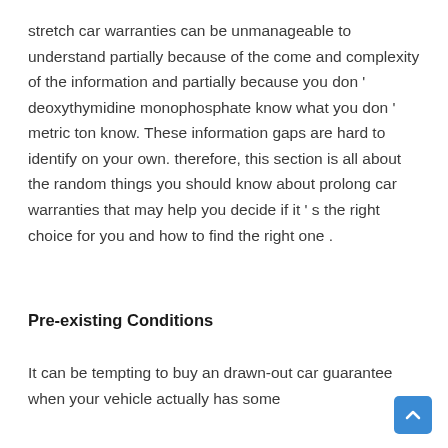stretch car warranties can be unmanageable to understand partially because of the come and complexity of the information and partially because you don ' deoxythymidine monophosphate know what you don ' metric ton know. These information gaps are hard to identify on your own. therefore, this section is all about the random things you should know about prolong car warranties that may help you decide if it ' s the right choice for you and how to find the right one .
Pre-existing Conditions
It can be tempting to buy an drawn-out car guarantee when your vehicle actually has some